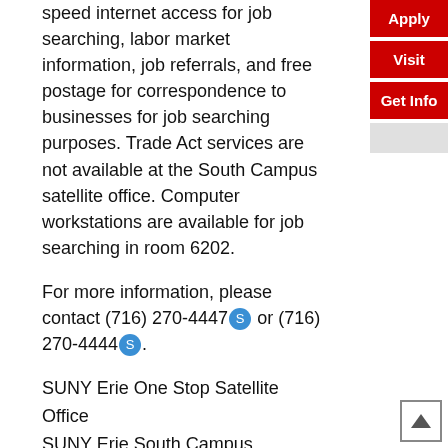speed internet access for job searching, labor market information, job referrals, and free postage for correspondence to businesses for job searching purposes. Trade Act services are not available at the South Campus satellite office. Computer workstations are available for job searching in room 6202.
For more information, please contact (716) 270-4447 or (716) 270-4444.
SUNY Erie One Stop Satellite Office
SUNY Erie South Campus
4041 Southwestern Blvd.
Orchard Park, New York 14127
SUNY Erie One Stop South Satellite Campus office hours are:
Mondays, Tuesdays, Thursdays and Fridays: 8